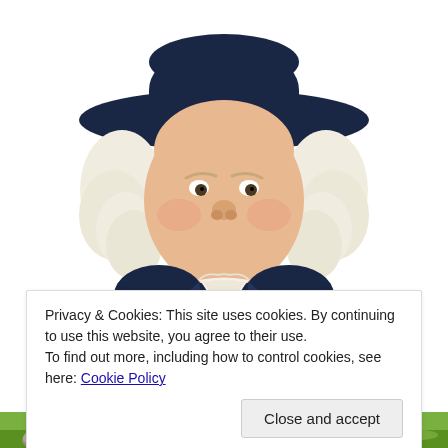12Up
[Figure (illustration): Quaker Oats mascot — a smiling man with white curly hair and a dark wide-brimmed hat, wearing a dark colonial-style coat with a white ruffled cravat.]
Privacy & Cookies: This site uses cookies. By continuing to use this website, you agree to their use.
To find out more, including how to control cookies, see here: Cookie Policy
[Figure (photo): Green grassy field with rocks visible at the bottom of the image.]